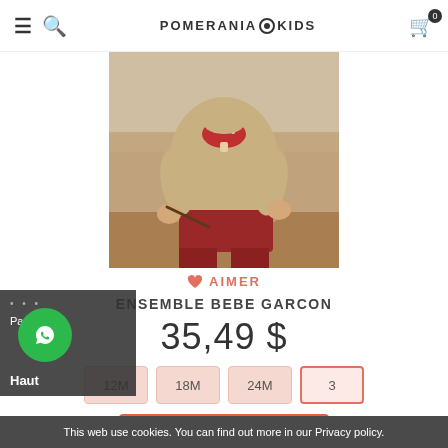POMERANIA KIDS — navigation bar with hamburger, search, logo, cart
[Figure (photo): Child wearing a beige knit sweater with red mushroom appliqué and red shorts/tights, holding a stick, outdoor background]
♡ AIMER
ENSEMBLE BEBE GARCON
35,49 $
12M  18M  24M  3
Add to cart
This web use cookies. You can find out more in our Privacy policy.